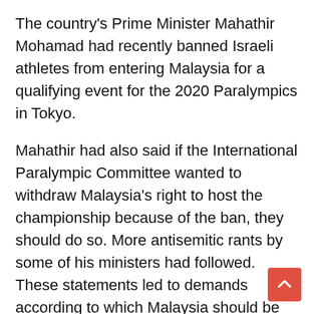The country's Prime Minister Mahathir Mohamad had recently banned Israeli athletes from entering Malaysia for a qualifying event for the 2020 Paralympics in Tokyo.
Mahathir had also said if the International Paralympic Committee wanted to withdraw Malaysia's right to host the championship because of the ban, they should do so. More antisemitic rants by some of his ministers had followed. These statements led to demands according to which Malaysia should be disinvited from being the official ITB partner country.
But there was condemnation even months before. In September of last year, news about two lesbian women, who were tortured in Malaysia because